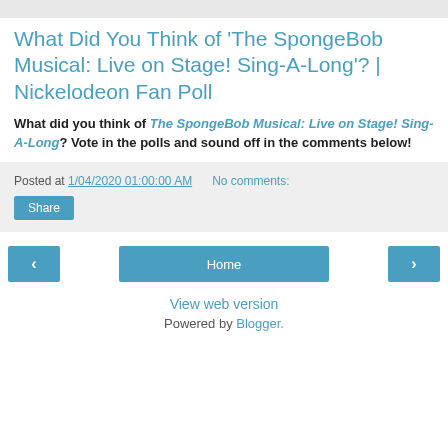What Did You Think of 'The SpongeBob Musical: Live on Stage! Sing-A-Long'? | Nickelodeon Fan Poll
What did you think of The SpongeBob Musical: Live on Stage! Sing-A-Long? Vote in the polls and sound off in the comments below!
Posted at 1/04/2020 01:00:00 AM   No comments:
Share
‹
Home
›
View web version
Powered by Blogger.